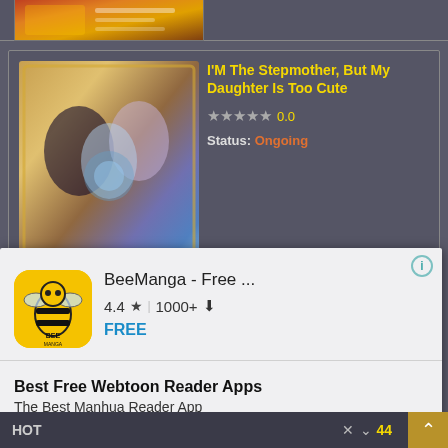[Figure (screenshot): Partial manga listing card at top of page showing colorful manga artwork banner]
[Figure (screenshot): Manga listing card for 'I'M The Stepmother, But My Daughter Is Too Cute' with cover art, 0.0 star rating, and Ongoing status]
I'M The Stepmother, But My Daughter Is Too Cute
0.0
Status: Ongoing
[Figure (screenshot): Google Play ad overlay for BeeManga - Free ... app, rated 4.4 stars, 1000+ downloads, FREE, with INSTALL button. Headline: Best Free Webtoon Reader Apps. Subline: The Best Manhua Reader App]
BeeManga - Free ...
4.4 ★ | 1000+ ⬇
FREE
Best Free Webtoon Reader Apps
The Best Manhua Reader App
Google Play
INSTALL
ght Once
4.0
ning
HOT × ∨ 44